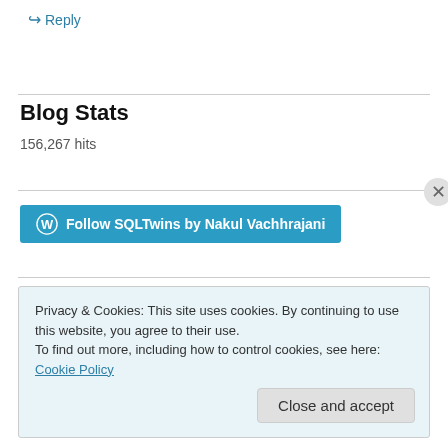↪ Reply
Blog Stats
156,267 hits
[Figure (other): Follow SQLTwins by Nakul Vachhrajani button with WordPress icon]
Privacy & Cookies: This site uses cookies. By continuing to use this website, you agree to their use.
To find out more, including how to control cookies, see here: Cookie Policy
Close and accept